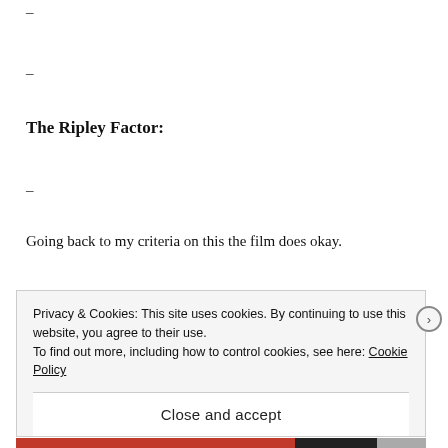–
–
The Ripley Factor:
–
Going back to my criteria on this the film does okay.
Privacy & Cookies: This site uses cookies. By continuing to use this website, you agree to their use.
To find out more, including how to control cookies, see here: Cookie Policy
Close and accept